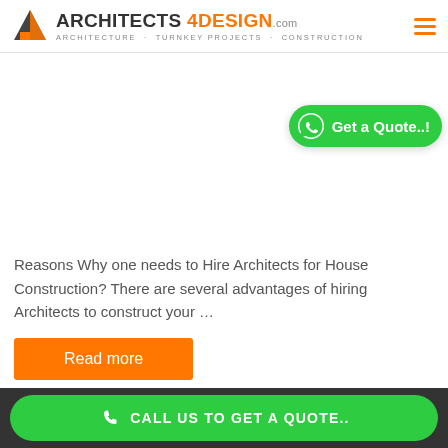ARCHITECTS 4DESIGN.com — ARCHITECTURE · TURNKEY PROJECTS · CONSTRUCTION
[Figure (other): WhatsApp 'Get a Quote..!' button in green on white background]
Reasons Why one needs to Hire Architects for House Construction? There are several advantages of hiring Architects to construct your …
Read more
CALL US TO GET A QUOTE..